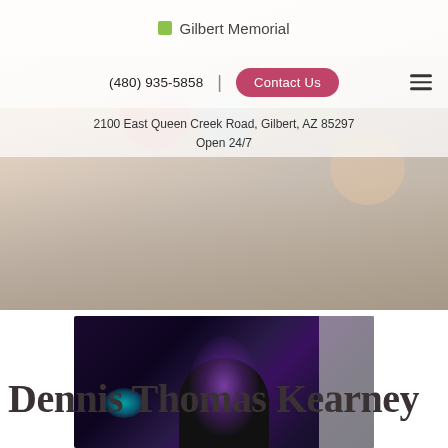Gilbert Memorial
(480) 935-5858  |  Contact Us
2100 East Queen Creek Road, Gilbert, AZ 85297
Open 24/7
Dennis Thomas Kearney
[Figure (photo): Photo of Dennis Thomas Kearney in a dark room with purple and teal lighting effects, a gray panel visible on the right side of the image.]